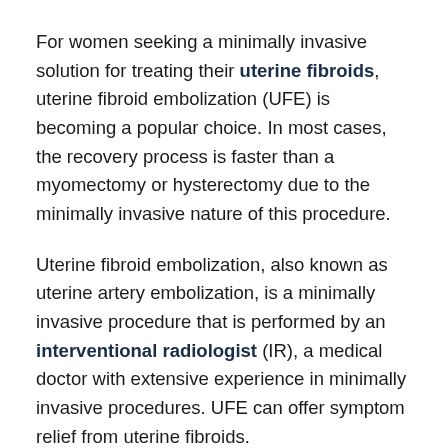For women seeking a minimally invasive solution for treating their uterine fibroids, uterine fibroid embolization (UFE) is becoming a popular choice. In most cases, the recovery process is faster than a myomectomy or hysterectomy due to the minimally invasive nature of this procedure.
Uterine fibroid embolization, also known as uterine artery embolization, is a minimally invasive procedure that is performed by an interventional radiologist (IR), a medical doctor with extensive experience in minimally invasive procedures. UFE can offer symptom relief from uterine fibroids.
What is uterine fibroid embolization?